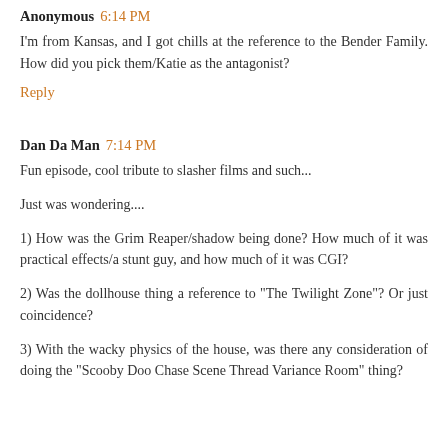Anonymous 6:14 PM
I'm from Kansas, and I got chills at the reference to the Bender Family. How did you pick them/Katie as the antagonist?
Reply
Dan Da Man 7:14 PM
Fun episode, cool tribute to slasher films and such...
Just was wondering....
1) How was the Grim Reaper/shadow being done? How much of it was practical effects/a stunt guy, and how much of it was CGI?
2) Was the dollhouse thing a reference to "The Twilight Zone"? Or just coincidence?
3) With the wacky physics of the house, was there any consideration of doing the "Scooby Doo Chase Scene Thread Variance Room" thing?